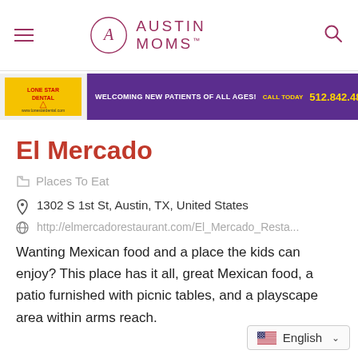AUSTIN MOMS™
[Figure (screenshot): Dental clinic advertisement banner: Lone Star Dental logo on yellow background, purple banner reading 'WELCOMING NEW PATIENTS OF ALL AGES! CALL TODAY 512.842.4829', with image of woman on right]
El Mercado
Places To Eat
1302 S 1st St, Austin, TX, United States
http://elmercadorestaurant.com/El_Mercado_Resta...
Wanting Mexican food and a place the kids can enjoy? This place has it all, great Mexican food, a patio furnished with picnic tables, and a playscape area within arms reach.
English